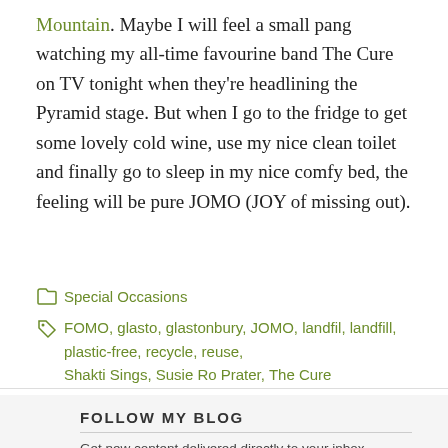Mountain. Maybe I will feel a small pang watching my all-time favourine band The Cure on TV tonight when they're headlining the Pyramid stage. But when I go to the fridge to get some lovely cold wine, use my nice clean toilet and finally go to sleep in my nice comfy bed, the feeling will be pure JOMO (JOY of missing out).
Special Occasions
FOMO, glasto, glastonbury, JOMO, landfil, landfill, plastic-free, recycle, reuse, Shakti Sings, Susie Ro Prater, The Cure
FOLLOW MY BLOG
Get new content delivered directly to your inbox.